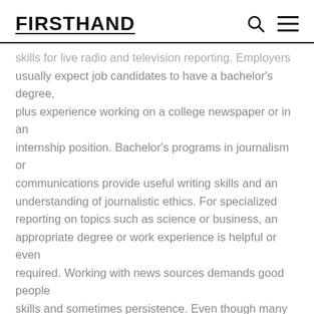FIRSTHAND
skills for live radio and television reporting. Employers usually expect job candidates to have a bachelor's degree, plus experience working on a college newspaper or in an internship position. Bachelor's programs in journalism or communications provide useful writing skills and an understanding of journalistic ethics. For specialized reporting on topics such as science or business, an appropriate degree or work experience is helpful or even required. Working with news sources demands good people skills and sometimes persistence. Even though many electronic media are not “put to bed” at a certain hour, as newspapers are, the news must be timely, so journalists usually work to meet a deadline, sometimes putting in long hours.
Because the news can often involve complex issues, with economic, social, legal, scientific, and other implications, news consumers often appreciate analysis to fit the news into these contexts and, perhaps, to provide an